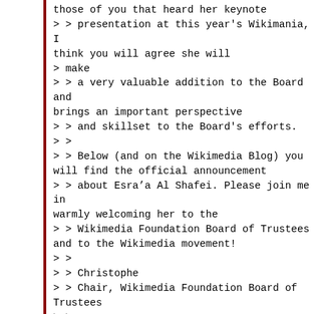those of you that heard her keynote > > presentation at this year's Wikimania, I think you will agree she will > make > > a very valuable addition to the Board and brings an important perspective > > and skillset to the Board's efforts. > > > > Below (and on the Wikimedia Blog) you will find the official announcement > > about Esra’a Al Shafei. Please join me in warmly welcoming her to the > > Wikimedia Foundation Board of Trustees and to the Wikimedia movement! > > > > Christophe > > Chair, Wikimedia Foundation Board of Trustees > > > > P.S. Due to the nature of Esra’a’s work, sharing photos or videos of > Esra’a > > may endanger her safety or the safety of others. I ask you not to...